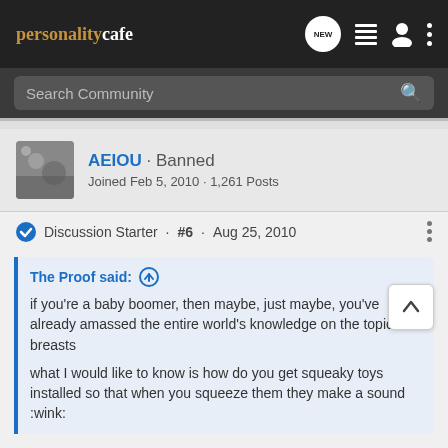personality cafe · NEW · (icons)
Search Community
AEIOU · Banned
Joined Feb 5, 2010 · 1,261 Posts
Discussion Starter · #6 · Aug 25, 2010
The Proof said: ↑
if you're a baby boomer, then maybe, just maybe, you've already amassed the entire world's knowledge on the topic of breasts

what I would like to know is how do you get squeaky toys installed so that when you squeeze them they make a sound :wink:
No, I haven't totally figured out women's breasts yet, that is why I am asking. Did NateTheGreat already ask this question